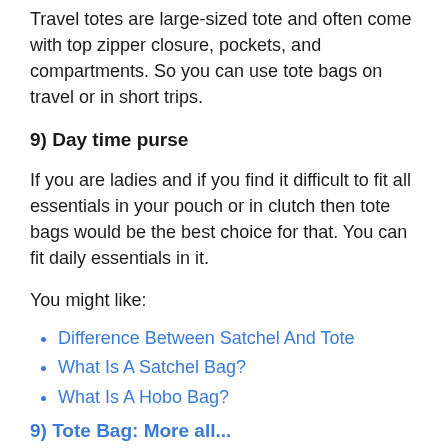Travel totes are large-sized tote and often come with top zipper closure, pockets, and compartments. So you can use tote bags on travel or in short trips.
9) Day time purse
If you are ladies and if you find it difficult to fit all essentials in your pouch or in clutch then tote bags would be the best choice for that. You can fit daily essentials in it.
You might like:
Difference Between Satchel And Tote
What Is A Satchel Bag?
What Is A Hobo Bag?
9) Tote Bag: More all...